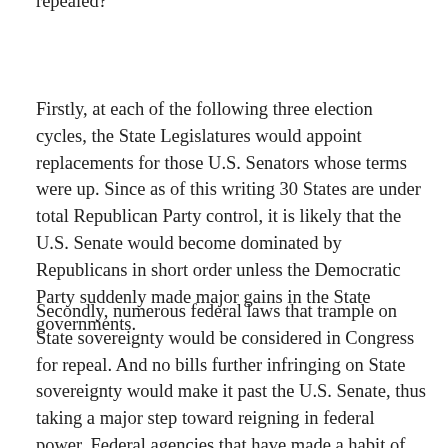repealed?
Firstly, at each of the following three election cycles, the State Legislatures would appoint replacements for those U.S. Senators whose terms were up. Since as of this writing 30 States are under total Republican Party control, it is likely that the U.S. Senate would become dominated by Republicans in short order unless the Democratic Party suddenly made major gains in the State governments.
Secondly, numerous federal laws that trample on State sovereignty would be considered in Congress for repeal. And no bills further infringing on State sovereignty would make it past the U.S. Senate, thus taking a major step toward reigning in federal power. Federal agencies that have made a habit of imposing crippling regulations on States would be directly in the crosshairs of U.S.